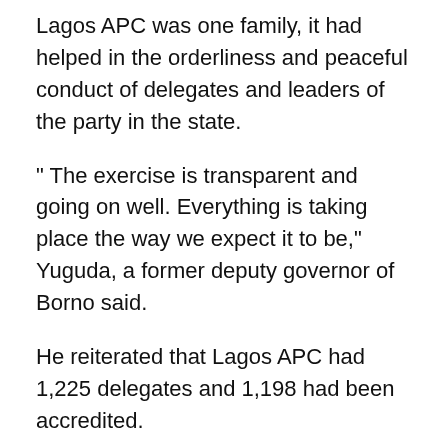Lagos APC was one family, it had helped in the orderliness and peaceful conduct of delegates and leaders of the party in the state.
“ The exercise is transparent and going on well. Everything is taking place the way we expect it to be,” Yuguda, a former deputy governor of Borno said.
He reiterated that Lagos APC had 1,225 delegates and 1,198 had been accredited.
According to him, ad hoc delegates from two local government areas have voted already as at 2:44pm and the committee is moving to the third local government area.